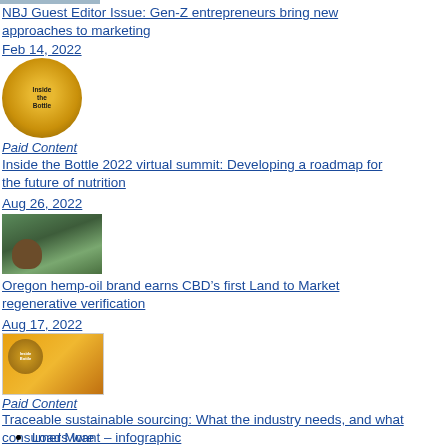[Figure (photo): Partial image at top of page, cropped]
NBJ Guest Editor Issue: Gen-Z entrepreneurs bring new approaches to marketing
Feb 14, 2022
[Figure (logo): Inside the Bottle circular logo, gold/brown color]
Paid Content
Inside the Bottle 2022 virtual summit: Developing a roadmap for the future of nutrition
Aug 26, 2022
[Figure (photo): Photo of a person or animal in a field/farm setting]
Oregon hemp-oil brand earns CBD’s first Land to Market regenerative verification
Aug 17, 2022
[Figure (photo): Inside the Bottle logo on product packaging with orange background]
Paid Content
Traceable sustainable sourcing: What the industry needs, and what consumers want – infographic
Aug 15, 2022
Load More